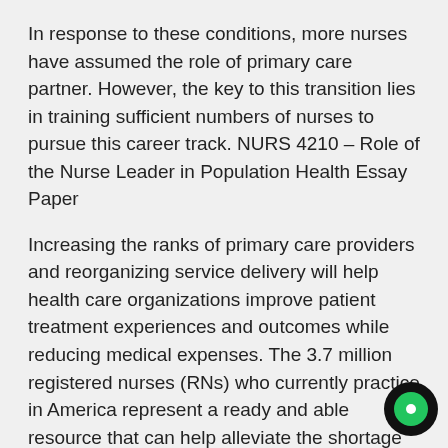In response to these conditions, more nurses have assumed the role of primary care partner. However, the key to this transition lies in training sufficient numbers of nurses to pursue this career track. NURS 4210 – Role of the Nurse Leader in Population Health Essay Paper
Increasing the ranks of primary care providers and reorganizing service delivery will help health care organizations improve patient treatment experiences and outcomes while reducing medical expenses. The 3.7 million registered nurses (RNs) who currently practice in America represent a ready and able resource that can help alleviate the shortage of primary care providers. Advanced practice nurses who assume roles as primary care partners can relieve the growing pressure placed on many health organizations in the United States.
Despite these options, many health care organizations…